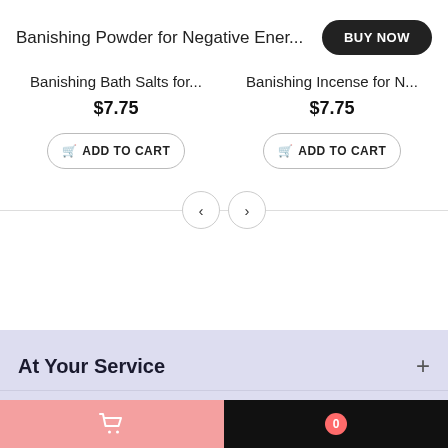Banishing Powder for Negative Ener...
BUY NOW
Banishing Bath Salts for...
$7.75
ADD TO CART
Banishing Incense for N...
$7.75
ADD TO CART
At Your Service
Company Info
[Figure (screenshot): Footer navigation bar with pink cart section and badge showing 0]